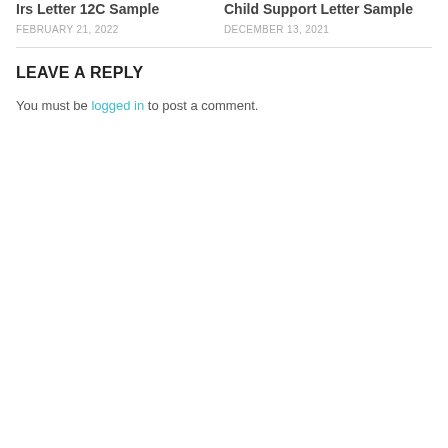Irs Letter 12C Sample
FEBRUARY 21, 2022
Child Support Letter Sample
DECEMBER 13, 2021
LEAVE A REPLY
You must be logged in to post a comment.